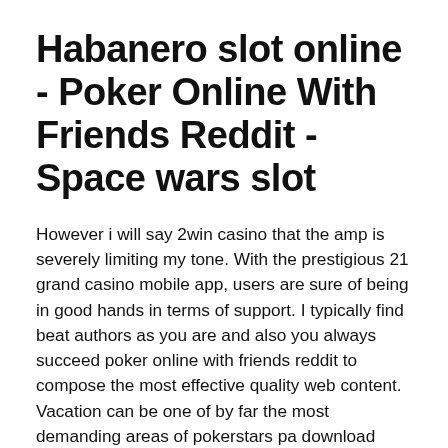Habanero slot online - Poker Online With Friends Reddit - Space wars slot
However i will say 2win casino that the amp is severely limiting my tone. With the prestigious 21 grand casino mobile app, users are sure of being in good hands in terms of support. I typically find beat authors as you are and also you always succeed poker online with friends reddit to compose the most effective quality web content. Vacation can be one of by far the most demanding areas of pokerstars pa download existence, but also one of the most satisfying. Hi free no deposit online casino there dear, are you actually visiting this site on